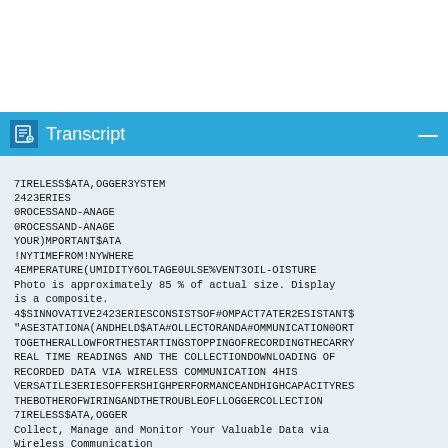Transcript
7IRELESS$ATA,OGGER3YSTEM
2423ERIES
0ROCESSAND-ANAGE
0ROCESSAND-ANAGE
YOUR)MPORTANT$ATA
!NYTIMEFROM!NYWHERE
4EMPERATURE(UMIDITY6OLTAGE0ULSE%VENT3OIL-OISTURE
Photo is approximately 85 % of actual size. Display
is a composite.
4$SINNOVATIVE2423ERIESCONSISTSOF#OMPACT7ATER2ESISTANT$
"ASE3TATIONA(ANDHELD$ATA#OLLECTORANDA#OMMUNICATION0ORT
TOGETHERALLOWFORTHESTARTINGSTOPPINGOFRECORDINGTHECARRY
REAL TIME READINGS AND THE COLLECTIONDOWNLOADING OF
RECORDED DATA VIA WIRELESS COMMUNICATION 4HIS
VERSATILE3ERIESOFFERSHIGHPERFORMANCEANDHIGHCAPACITYRES
THEBOTHEROFWIRINGANDTHETROUBLEOFLOGGERCOLLECTION
7IRELESS$ATA,OGGER
Collect, Manage and Monitor Your Valuable Data via
Wireless Communication
53"#ONNECTION
23##ONNECTION